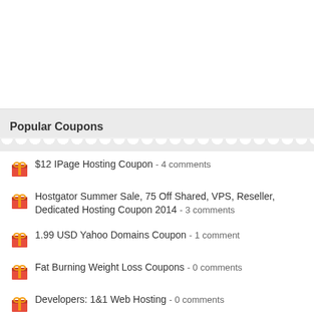[Figure (other): White blank advertisement or banner area at top of page]
Popular Coupons
$12 IPage Hosting Coupon - 4 comments
Hostgator Summer Sale, 75 Off Shared, VPS, Reseller, Dedicated Hosting Coupon 2014 - 3 comments
1.99 USD Yahoo Domains Coupon - 1 comment
Fat Burning Weight Loss Coupons - 0 comments
Developers: 1&1 Web Hosting - 0 comments
1&1 Cloud Server Coupon - 0 comments
Developers: 1&1 Linux Web Hosting Coupon - 0 comments
Administrators: 1&1 Dedicated Servers - 0 comments
AliPlugin Discount Coupon - 0 comments